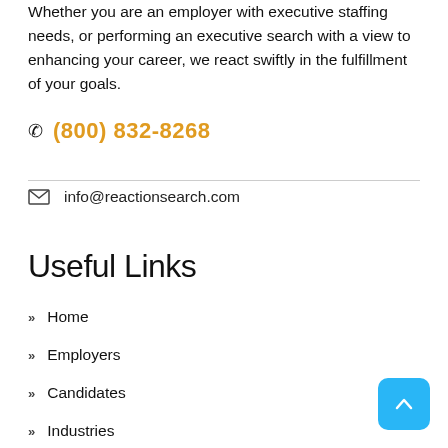Whether you are an employer with executive staffing needs, or performing an executive search with a view to enhancing your career, we react swiftly in the fulfillment of your goals.
(800) 832-8268
info@reactionsearch.com
Useful Links
Home
Employers
Candidates
Industries
Locations